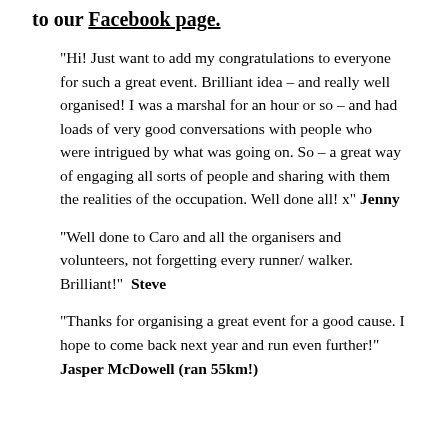to our Facebook page.
"Hi! Just want to add my congratulations to everyone for such a great event. Brilliant idea – and really well organised! I was a marshal for an hour or so – and had loads of very good conversations with people who were intrigued by what was going on. So – a great way of engaging all sorts of people and sharing with them the realities of the occupation. Well done all! x" Jenny
"Well done to Caro and all the organisers and volunteers, not forgetting every runner/ walker. Brilliant!" Steve
"Thanks for organising a great event for a good cause. I hope to come back next year and run even further!" Jasper McDowell (ran 55km!)